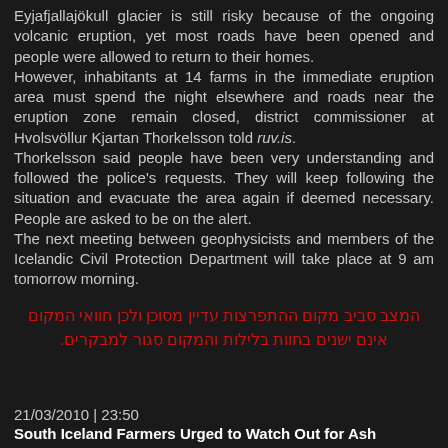Eyjafjallajökull glacier is still risky because of the ongoing volcanic eruption, yet most roads have been opened and people were allowed to return to their homes. However, inhabitants at 14 farms in the immediate eruption area must spend the night elsewhere and roads near the eruption zone remain closed, district commissioner at Hvolsvöllur Kjartan Thorkelsson told ruv.is. Thorkelsson said people have been very understanding and followed the police's requests. They will keep following the situation and evacuate the area again if deemed necessary. People are asked to be on the alert. The next meeting between geophysicists and members of the Icelandic Civil Protection Department will take place at 9 am tomorrow morning.
המצב סביב מקום ההתפרצות עדיין מסוכן ולכן חוואי המקום אינם ישנים בחוות בלילות והמקום סגור למבקרים.
21/03/2010 | 23:50
South Iceland Farmers Urged to Watch Out for Ash